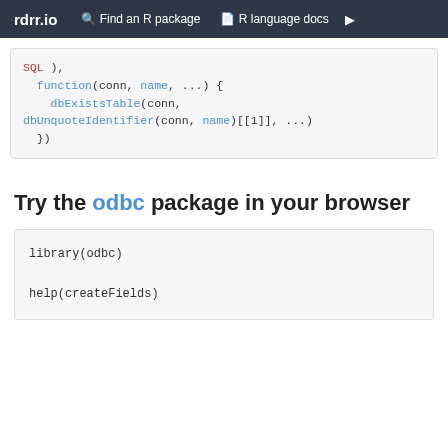rdrr.io   Find an R package   R language docs
[Figure (screenshot): Code block showing R function with SQL, function(conn, name, ...) { dbExistsTable(conn, dbUnquoteIdentifier(conn, name)[[1]], ...) })]
Try the odbc package in your browser
[Figure (screenshot): Code block showing: library(odbc)

help(createFields)]